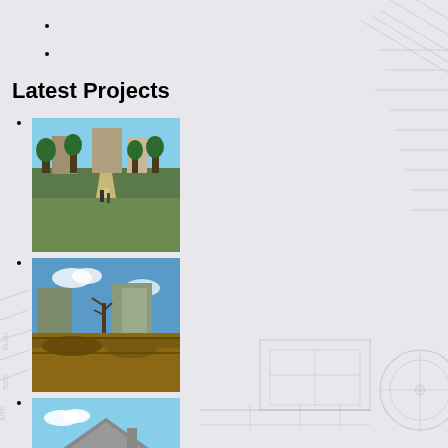Latest Projects
[Figure (photo): Outdoor walkway/path lined with trees and buildings in the background]
[Figure (photo): Construction site with exposed soil and buildings in background under blue sky]
[Figure (photo): Residential house with garage and green lawn]
Home
About
Experience
Services
Projects
Plan Room